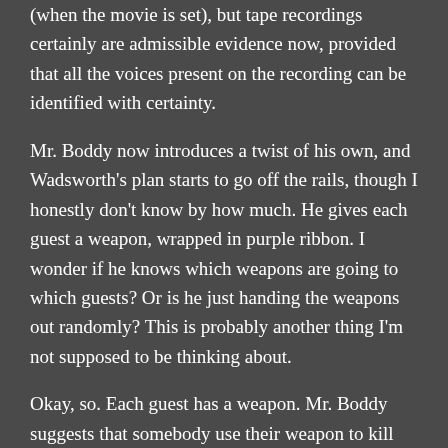(when the movie is set), but tape recordings certainly are admissible evidence now, provided that all the voices present on the recording can be identified with certainty.
Mr. Boddy now introduces a twist of his own, and Wadsworth's plan starts to go off the rails, though I honestly don't know by how much. He gives each guest a weapon, wrapped in purple ribbon. I wonder if he knows which weapons are going to which guests? Or is he just handing the weapons out randomly? This is probably another thing I'm not supposed to be thinking about.
Okay, so. Each guest has a weapon. Mr. Boddy suggests that somebody use their weapon to kill Wadsworth, turning off the lights for murdering